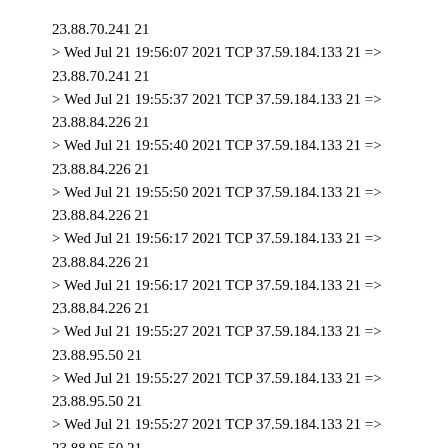23.88.70.241 21
> Wed Jul 21 19:56:07 2021 TCP 37.59.184.133 21 => 23.88.70.241 21
> Wed Jul 21 19:55:37 2021 TCP 37.59.184.133 21 => 23.88.84.226 21
> Wed Jul 21 19:55:40 2021 TCP 37.59.184.133 21 => 23.88.84.226 21
> Wed Jul 21 19:55:50 2021 TCP 37.59.184.133 21 => 23.88.84.226 21
> Wed Jul 21 19:56:17 2021 TCP 37.59.184.133 21 => 23.88.84.226 21
> Wed Jul 21 19:56:17 2021 TCP 37.59.184.133 21 => 23.88.84.226 21
> Wed Jul 21 19:55:27 2021 TCP 37.59.184.133 21 => 23.88.95.50 21
> Wed Jul 21 19:55:27 2021 TCP 37.59.184.133 21 => 23.88.95.50 21
> Wed Jul 21 19:55:27 2021 TCP 37.59.184.133 21 => 23.88.95.50 21